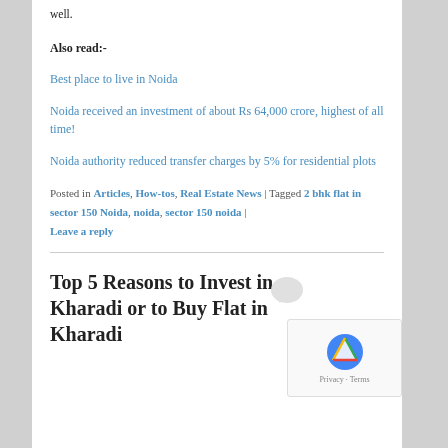well.
Also read:-
Best place to live in Noida
Noida received an investment of about Rs 64,000 crore, highest of all time!
Noida authority reduced transfer charges by 5% for residential plots
Posted in Articles, How-tos, Real Estate News | Tagged 2 bhk flat in sector 150 Noida, noida, sector 150 noida | Leave a reply
Top 5 Reasons to Invest in Kharadi or to Buy Flat in Kharadi